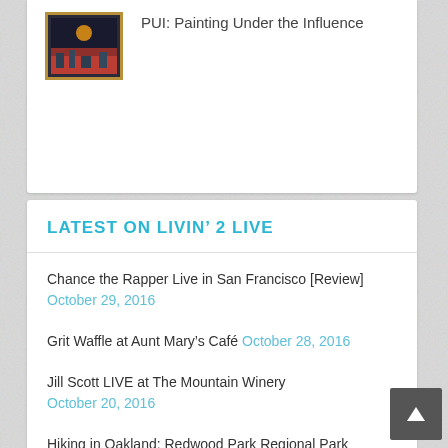[Figure (photo): Framed painting with orange and red tones, cityscape art piece with golden frame]
PUI: Painting Under the Influence
LATEST ON LIVIN' 2 LIVE
Chance the Rapper Live in San Francisco [Review] October 29, 2016
Grit Waffle at Aunt Mary's Café October 28, 2016
Jill Scott LIVE at The Mountain Winery October 20, 2016
Hiking in Oakland: Redwood Park Regional Park October 19, 2016